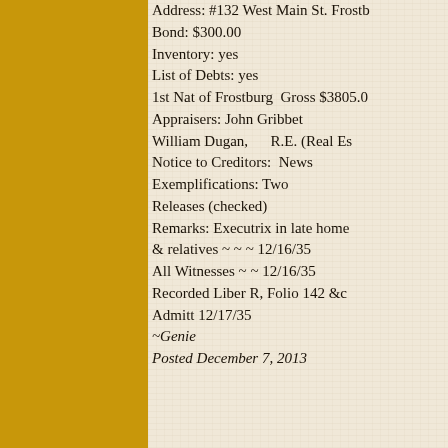Address: #132 West Main St. Frostburg
Bond: $300.00
Inventory: yes
List of Debts: yes
  1st Nat of Frostburg  Gross $3805.00
Appraisers: John Gribbet
  William Dugan,        R.E. (Real Estate)
Notice to Creditors:  News
Exemplifications: Two
Releases (checked)

Remarks: Executrix in late home
  & relatives ~ ~ ~ 12/16/35
  All Witnesses ~ ~ 12/16/35

Recorded Liber R, Folio 142 &c
Admitt 12/17/35

~Genie
Posted December 7, 2013